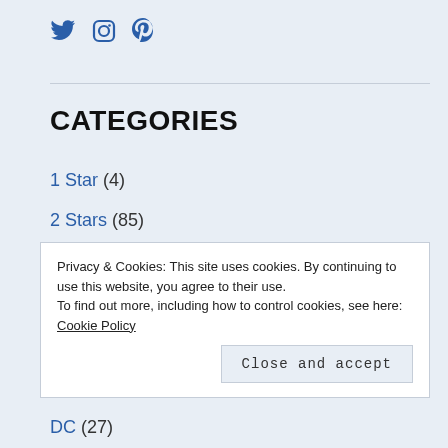[Figure (illustration): Social media icons: Twitter bird, Instagram camera, Pinterest P]
CATEGORIES
1 Star (4)
2 Stars (85)
3 Stars (166)
4 Stars (133)
5 Stars (47)
Collection (14)
Privacy & Cookies: This site uses cookies. By continuing to use this website, you agree to their use. To find out more, including how to control cookies, see here: Cookie Policy
Close and accept
DC (27)